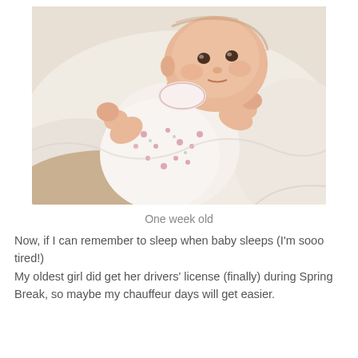[Figure (photo): A newborn baby approximately one week old, wearing a white floral dress with pink flowers, lying on white fabric/blanket, looking at the camera with fists raised]
One week old
Now, if I can remember to sleep when baby sleeps (I'm sooo tired!)
My oldest girl did get her drivers' license (finally) during Spring Break, so maybe my chauffeur days will get easier.